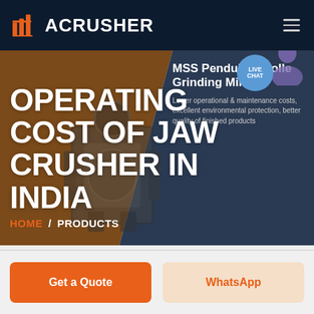ACRUSHER
OPERATING COST OF JAW CRUSHER IN INDIA
[Figure (screenshot): Website screenshot showing ACRUSHER brand page with jaw crusher image, hero banner with orange and dark blue diagonal split background, product panel showing Pendulum Roller Grinding Mill, live chat bubble, breadcrumb navigation HOME / PRODUCTS]
MSS Pendulum Roller Grinding Mill
Lower operational & maintenance costs, excellent environmental protection, better quality of finished products
HOME / PRODUCTS
Get a Quote
WhatsApp